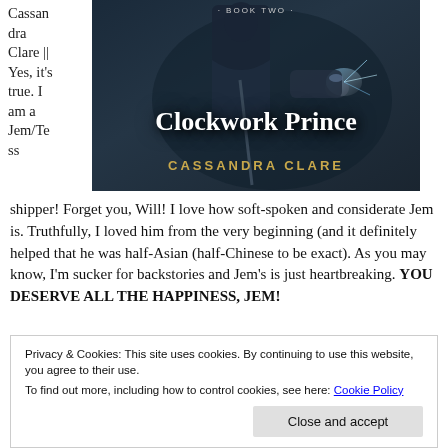Cassandra Clare || Yes, it's true. I am a Jem/Tess
[Figure (photo): Book cover of 'Clockwork Prince' by Cassandra Clare, Book Two. Dark atmospheric cover with a figure holding a cane, magical light emanating from one hand. Title in large white serif font, author name in gold uppercase letters.]
shipper! Forget you, Will! I love how soft-spoken and considerate Jem is. Truthfully, I loved him from the very beginning (and it definitely helped that he was half-Asian (half-Chinese to be exact). As you may know, I'm sucker for backstories and Jem's is just heartbreaking. YOU DESERVE ALL THE HAPPINESS, JEM!
Privacy & Cookies: This site uses cookies. By continuing to use this website, you agree to their use.
To find out more, including how to control cookies, see here: Cookie Policy